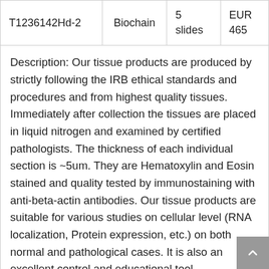| Product Code | Brand | Quantity | Price |
| --- | --- | --- | --- |
| T1236142Hd-2 | Biochain | 5 slides | EUR 465 |
Description: Our tissue products are produced by strictly following the IRB ethical standards and procedures and from highest quality tissues. Immediately after collection the tissues are placed in liquid nitrogen and examined by certified pathologists. The thickness of each individual section is ~5um. They are Hematoxylin and Eosin stained and quality tested by immunostaining with anti-beta-actin antibodies. Our tissue products are suitable for various studies on cellular level (RNA localization, Protein expression, etc.) on both normal and pathological cases. It is also an excellent control and educational tool.